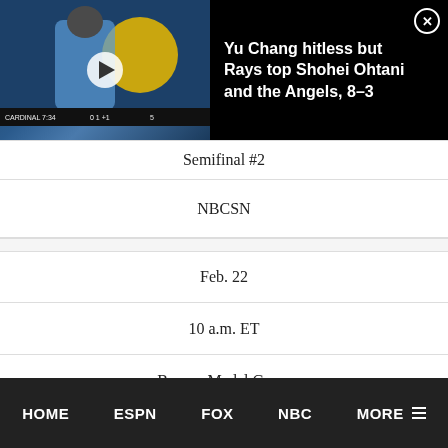[Figure (screenshot): Video thumbnail overlay with a baseball player in a Tampa Bay Rays blue uniform, with a play button. Title reads: 'Yu Chang hitless but Rays top Shohei Ohtani and the Angels, 8-3'. Close (X) button top right.]
Semifinal #2
NBCSN
Feb. 22
10 a.m. ET
Bronze Medal Game
NBCSN
HOME   ESPN   FOX   NBC   MORE ☰